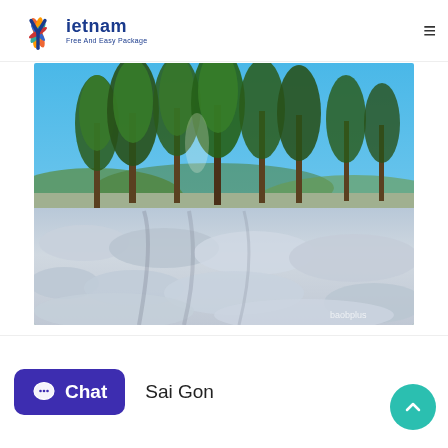Vietnam Free And Easy Package — navigation header with logo and hamburger menu
[Figure (photo): Landscape photo of a Da Lat hillside field covered with white fluffy grass/wildflowers in the foreground, tall pine trees in the background against a bright blue sky. Watermark 'baobplus' in bottom right corner.]
[Figure (logo): Chat button widget (dark blue/purple rounded rectangle) with speech bubble icon and 'Chat' label in white text]
Sai Gon